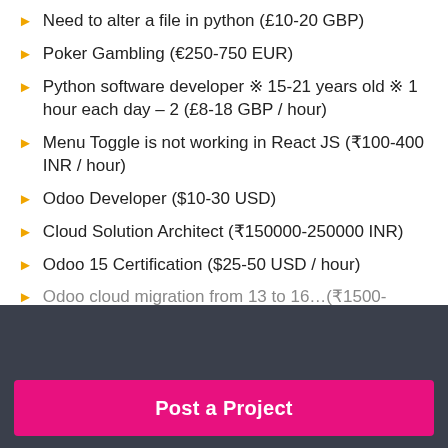Need to alter a file in python (£10-20 GBP)
Poker Gambling (€250-750 EUR)
Python software developer ※ 15-21 years old ※ 1 hour each day – 2 (£8-18 GBP / hour)
Menu Toggle is not working in React JS (₹100-400 INR / hour)
Odoo Developer ($10-30 USD)
Cloud Solution Architect (₹150000-250000 INR)
Odoo 15 Certification ($25-50 USD / hour)
Need to hire a freelancer for a job?
Post a Project